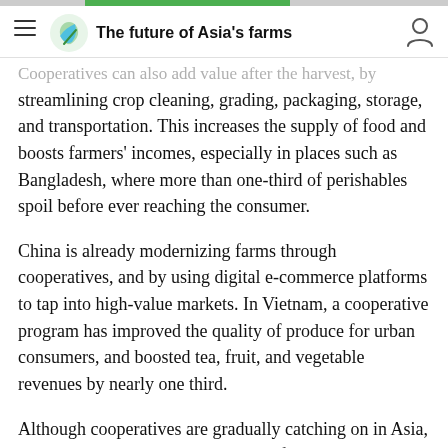The future of Asia's farms
Cooperatives can also add value after the harvest, by streamlining crop cleaning, grading, packaging, storage, and transportation. This increases the supply of food and boosts farmers' incomes, especially in places such as Bangladesh, where more than one-third of perishables spoil before ever reaching the consumer.
China is already modernizing farms through cooperatives, and by using digital e-commerce platforms to tap into high-value markets. In Vietnam, a cooperative program has improved the quality of produce for urban consumers, and boosted tea, fruit, and vegetable revenues by nearly one third.
Although cooperatives are gradually catching on in Asia, they will need more support. Most of the region's cooperatives are fragile, informal arrangements. But